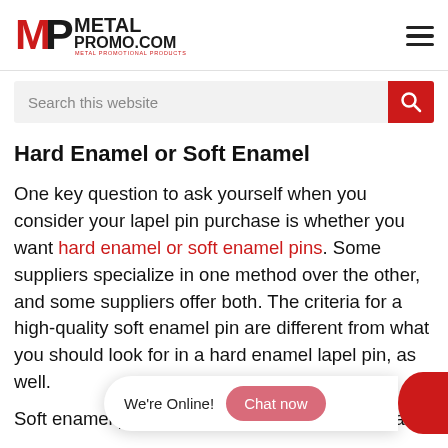METAL PROMO.COM — Metal Promotional Products
Search this website
Hard Enamel or Soft Enamel
One key question to ask yourself when you consider your lapel pin purchase is whether you want hard enamel or soft enamel pins. Some suppliers specialize in one method over the other, and some suppliers offer both. The criteria for a high-quality soft enamel pin are different from what you should look for in a hard enamel lapel pin, as well.
Soft enamel products te… because of the way that the enamel is applied and…
We're Online! Chat now